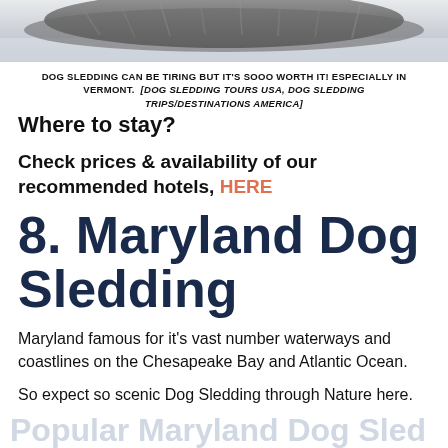[Figure (photo): Photo of a dog (husky/sled dog) lying in snow, cropped at top of page]
DOG SLEDDING CAN BE TIRING BUT IT'S SOOO WORTH IT! ESPECIALLY IN VERMONT. [DOG SLEDDING TOURS USA, DOG SLEDDING TRIPS/DESTINATIONS AMERICA]
Where to stay?
Check prices & availability of our recommended hotels, HERE
8. Maryland Dog Sledding
Maryland famous for it's vast number waterways and coastlines on the Chesapeake Bay and Atlantic Ocean.
So expect so scenic Dog Sledding through Nature here.
Popular Maryland Dog Sled